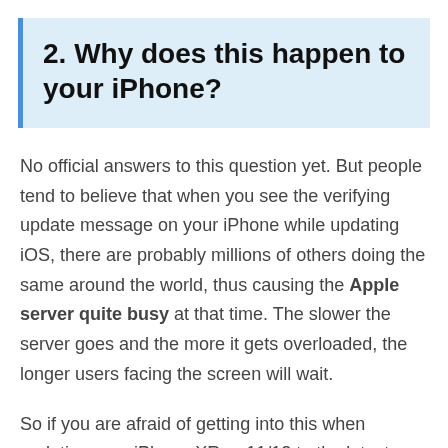2. Why does this happen to your iPhone?
No official answers to this question yet. But people tend to believe that when you see the verifying update message on your iPhone while updating iOS, there are probably millions of others doing the same around the world, thus causing the Apple server quite busy at that time. The slower the server goes and the more it gets overloaded, the longer users facing the screen will wait.
So if you are afraid of getting into this when updating your iPhone XR or 11/12 to the latest